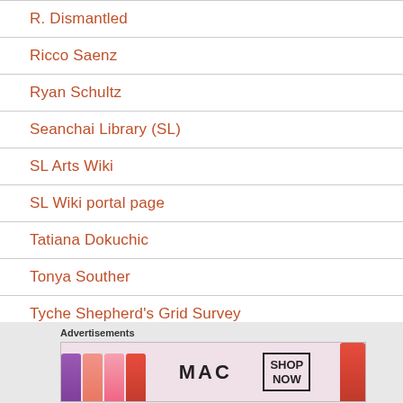R. Dismantled
Ricco Saenz
Ryan Schultz
Seanchai Library (SL)
SL Arts Wiki
SL Wiki portal page
Tatiana Dokuchic
Tonya Souther
Tyche Shepherd's Grid Survey
UWA in SL
[Figure (infographic): MAC cosmetics advertisement banner showing lipsticks and SHOP NOW button]